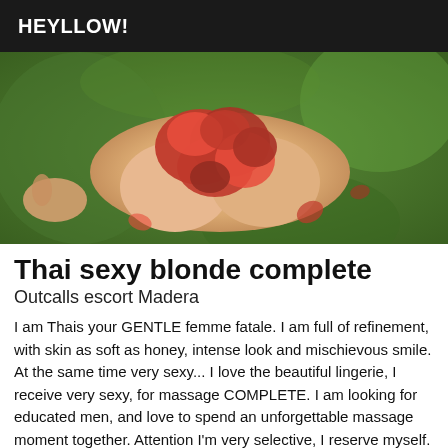HEYLLOW!
[Figure (photo): Photo of a person lying on green grass with red rose petals arranged on their torso, viewed from above.]
Thai sexy blonde complete
Outcalls escort Madera
I am Thais your GENTLE femme fatale. I am full of refinement, with skin as soft as honey, intense look and mischievous smile. At the same time very sexy... I love the beautiful lingerie, I receive very sexy, for massage COMPLETE. I am looking for educated men, and love to spend an unforgettable massage moment together. Attention I'm very selective, I reserve myself. only to true gentlemen. With is an old babe in attitude from someone of